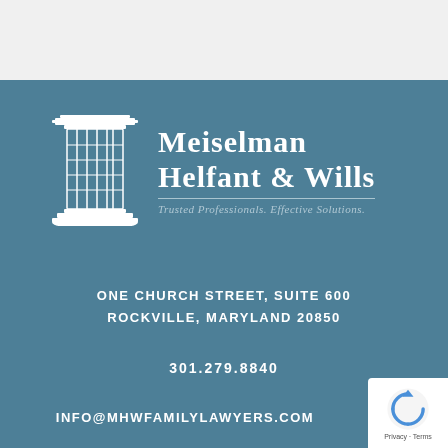[Figure (logo): Meiselman Helfant & Wills law firm logo with a pillar/column icon on the left and firm name on the right, with tagline 'Trusted Professionals. Effective Solutions.']
ONE CHURCH STREET, SUITE 600
ROCKVILLE, MARYLAND 20850
301.279.8840
INFO@MHWFAMILYLAWYERS.COM